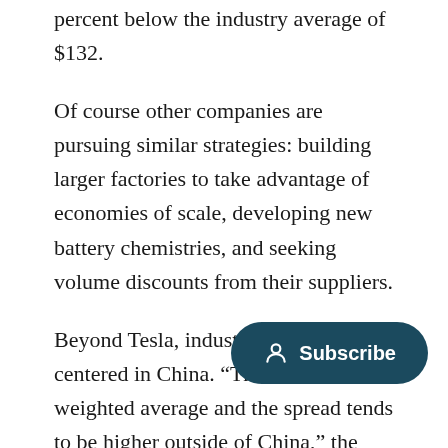percent below the industry average of $132.
Of course other companies are pursuing similar strategies: building larger factories to take advantage of economies of scale, developing new battery chemistries, and seeking volume discounts from their suppliers.
Beyond Tesla, industry leadership is centered in China. “The volume-weighted average and the spread tends to be higher outside of China,” the report says. “This reflects the relative immaturity of these markets.”
BloombergNEF estimates that th…y customer in China pays $111 per kWh, compared